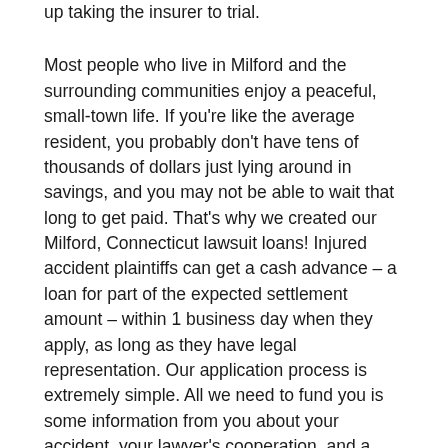up taking the insurer to trial.
Most people who live in Milford and the surrounding communities enjoy a peaceful, small-town life. If you're like the average resident, you probably don't have tens of thousands of dollars just lying around in savings, and you may not be able to wait that long to get paid. That's why we created our Milford, Connecticut lawsuit loans! Injured accident plaintiffs can get a cash advance – a loan for part of the expected settlement amount – within 1 business day when they apply, as long as they have legal representation. Our application process is extremely simple. All we need to fund you is some information from you about your accident, your lawyer's cooperation, and a signed agreement. If you don't win your case, you don't have to repay the loan. If and when you do win your case, your loan will be repaid directly out of the settlement amount. It's a risk-free arrangement that can be a tremendous help to you as you try to get back on their feet after being hurt by another person's negligence. You can complete our application process